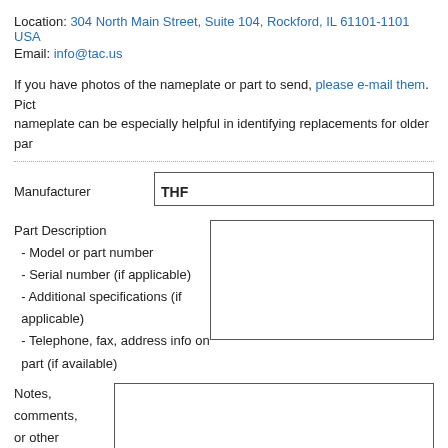Location: 304 North Main Street, Suite 104, Rockford, IL 61101-1101 USA
Email: info@tac.us
If you have photos of the nameplate or part to send, please e-mail them. Pictures of the nameplate can be especially helpful in identifying replacements for older par...
Manufacturer
THF
Part Description
 - Model or part number
 - Serial number (if applicable)
 - Additional specifications (if applicable)
 - Telephone, fax, address info on part (if available)
Notes, comments, or other information
Your contact information
Name
Position or Title